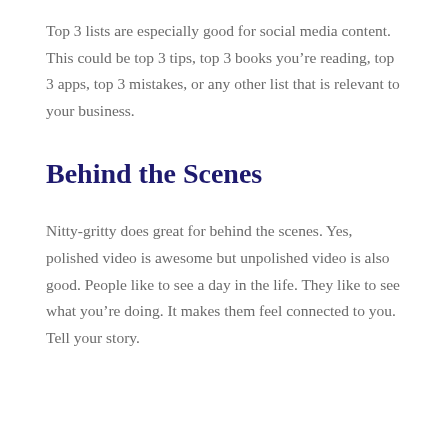Top 3 lists are especially good for social media content. This could be top 3 tips, top 3 books you’re reading, top 3 apps, top 3 mistakes, or any other list that is relevant to your business.
Behind the Scenes
Nitty-gritty does great for behind the scenes. Yes, polished video is awesome but unpolished video is also good. People like to see a day in the life. They like to see what you’re doing. It makes them feel connected to you. Tell your story.